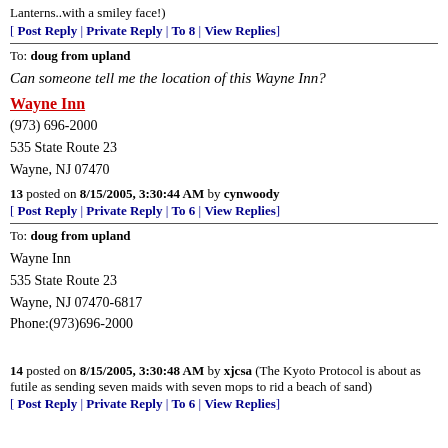Lanterns..with a smiley face!)
[ Post Reply | Private Reply | To 8 | View Replies]
To: doug from upland
Can someone tell me the location of this Wayne Inn?
Wayne Inn
(973) 696-2000
535 State Route 23
Wayne, NJ 07470
13 posted on 8/15/2005, 3:30:44 AM by cynwoody
[ Post Reply | Private Reply | To 6 | View Replies]
To: doug from upland
Wayne Inn
535 State Route 23
Wayne, NJ 07470-6817
Phone:(973)696-2000
14 posted on 8/15/2005, 3:30:48 AM by xjcsa (The Kyoto Protocol is about as futile as sending seven maids with seven mops to rid a beach of sand)
[ Post Reply | Private Reply | To 6 | View Replies]